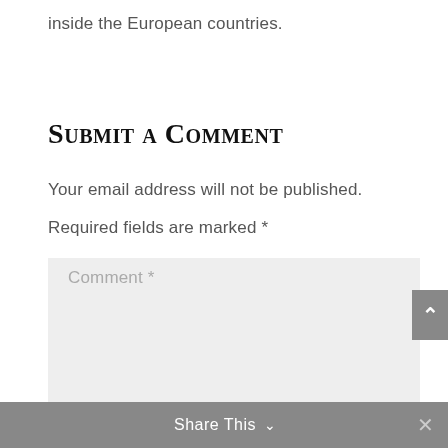inside the European countries.
Submit a Comment
Your email address will not be published.
Required fields are marked *
Comment *
Share This ∨  ×